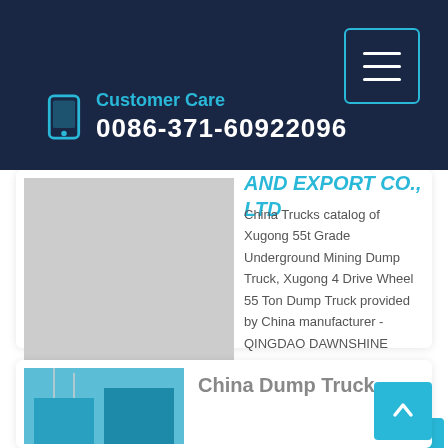Customer Care
0086-371-60922096
AND EXPORT CO., LTD
China Trucks catalog of Xugong 55t Grade Underground Mining Dump Truck, Xugong 4 Drive Wheel 55 Ton Dump Truck provided by China manufacturer - QINGDAO DAWNSHINE IMPORT AND EXPORT CO., LTD., page3.
Learn More
China Dump Truck